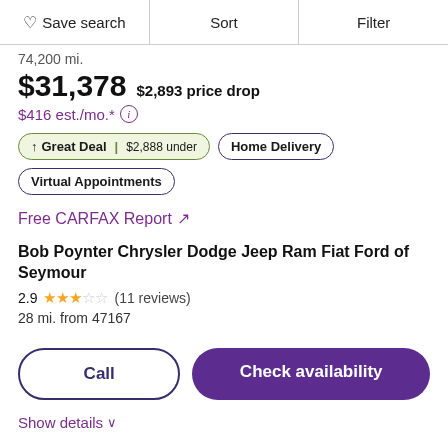Save search | Sort | Filter
74,200 mi.
$31,378  $2,893 price drop
$416 est./mo.*
↑ Great Deal | $2,888 under | Home Delivery | Virtual Appointments
Free CARFAX Report ↗
Bob Poynter Chrysler Dodge Jeep Ram Fiat Ford of Seymour
2.9 ★★★☆☆ (11 reviews)
28 mi. from 47167
Call | Check availability
Show details ∨